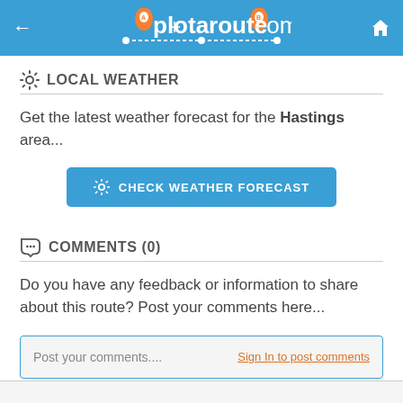plotaroute.com
LOCAL WEATHER
Get the latest weather forecast for the Hastings area...
[Figure (other): CHECK WEATHER FORECAST button with gear icon]
COMMENTS (0)
Do you have any feedback or information to share about this route? Post your comments here...
Post your comments....    Sign In to post comments